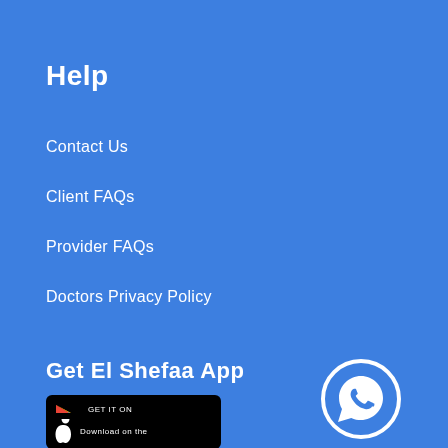Help
Contact Us
Client FAQs
Provider FAQs
Doctors Privacy Policy
Get El Shefaa App
[Figure (logo): Google Play badge - GET IT ON Google Play]
[Figure (logo): Apple App Store badge - Download on the App Store]
[Figure (logo): WhatsApp icon in white circle on blue background]